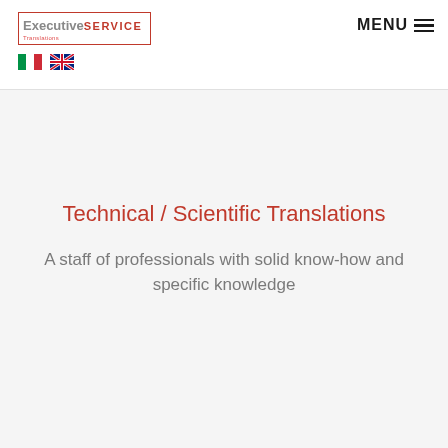Executive SERVICE - MENU
Technical / Scientific Translations
A staff of professionals with solid know-how and specific knowledge